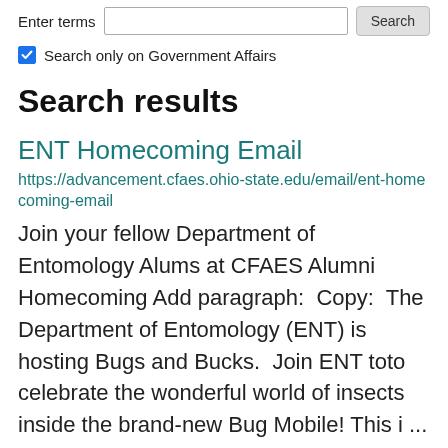Enter terms [search box] Search
Search only on Government Affairs
Search results
ENT Homecoming Email
https://advancement.cfaes.ohio-state.edu/email/ent-homecoming-email
Join your fellow Department of Entomology Alums at CFAES Alumni Homecoming Add paragraph:  Copy:  The Department of Entomology (ENT) is hosting Bugs and Bucks.  Join ENT toto celebrate the wonderful world of insects inside the brand-new Bug Mobile! This i ...